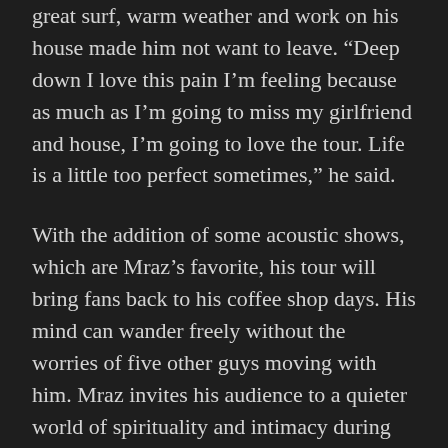great surf, warm weather and work on his house made him not want to leave. “Deep down I love this pain I’m feeling because as much as I’m going to miss my girlfriend and house, I’m going to love the tour. Life is a little too perfect sometimes,” he said.
With the addition of some acoustic shows, which are Mraz’s favorite, his tour will bring fans back to his coffee shop days. His mind can wander freely without the worries of five other guys moving with him. Mraz invites his audience to a quieter world of spirituality and intimacy during these shows.
“I’m going out into the world and being this image that has been promoted about me. When you put it out there, people think they know you because of